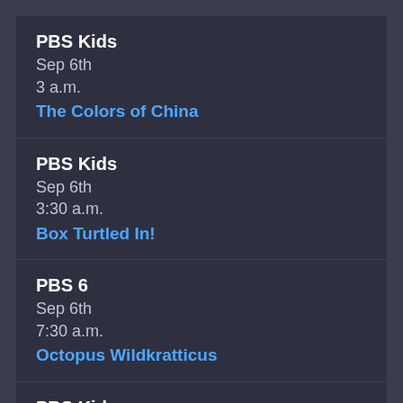PBS Kids
Sep 6th
3 a.m.
The Colors of China
PBS Kids
Sep 6th
3:30 a.m.
Box Turtled In!
PBS 6
Sep 6th
7:30 a.m.
Octopus Wildkratticus
PBS Kids
Sep 6th
7 p.m.
Falcon City